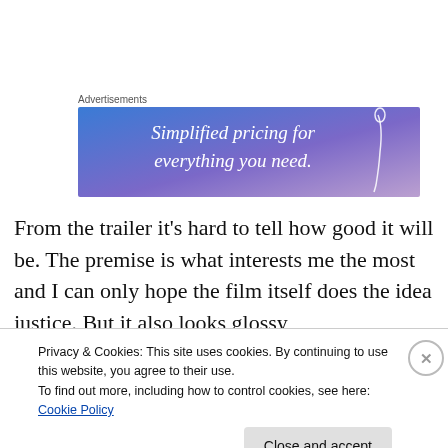Advertisements
[Figure (illustration): Advertisement banner with gradient blue-purple background and text 'Simplified pricing for everything you need.' with a needle/pin graphic on the right side.]
From the trailer it's hard to tell how good it will be. The premise is what interests me the most and I can only hope the film itself does the idea justice. But it also looks glossy
Privacy & Cookies: This site uses cookies. By continuing to use this website, you agree to their use.
To find out more, including how to control cookies, see here: Cookie Policy
Close and accept